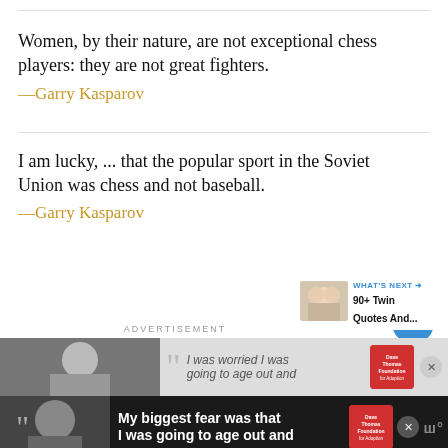Women, by their nature, are not exceptional chess players: they are not great fighters.
—Garry Kasparov
I am lucky, ... that the popular sport in the Soviet Union was chess and not baseball.
—Garry Kasparov
[Figure (screenshot): ADVERTISEMENT section with ad banner containing quote text and Dave Thomas Foundation for Adoption logo]
[Figure (infographic): WHAT'S NEXT panel showing 90+ Twin Quotes And... with baby photo]